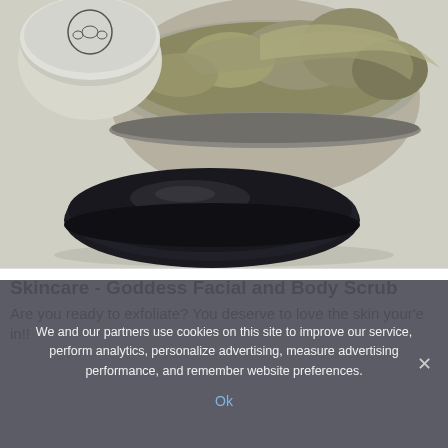[Figure (photo): Close-up photograph of an open skincare jar (The Body Shop brand) showing a clay/mud facial and body scrub product with a dark round lid in front and a smaller branded jar behind, all on a white background.]
Skincare - Goddess Facial and Body Scrub
Are you ready to exfoliate? You deserve to love the skin your'e in!!
We and our partners use cookies on this site to improve our service, perform analytics, personalize advertising, measure advertising performance, and remember website preferences.
Ok